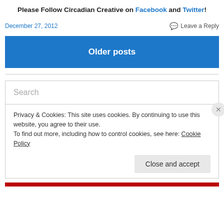Please Follow Circadian Creative on Facebook and Twitter!
December 27, 2012
Leave a Reply
Older posts
Search
Privacy & Cookies: This site uses cookies. By continuing to use this website, you agree to their use.
To find out more, including how to control cookies, see here: Cookie Policy
Close and accept